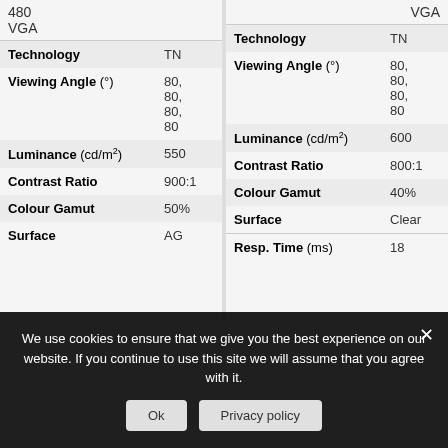| Specification | Value |
| --- | --- |
|  | 480
VGA |
| Technology | TN |
| Viewing Angle (°) | 80, 80, 80, 80 |
| Luminance (cd/m²) | 550 |
| Contrast Ratio | 900:1 |
| Colour Gamut | 50% |
| Surface | AG |
| Specification | Value |
| --- | --- |
|  | VGA |
| Technology | TN |
| Viewing Angle (°) | 80, 80, 80, 80 |
| Luminance (cd/m²) | 600 |
| Contrast Ratio | 800:1 |
| Colour Gamut | 40% |
| Surface | Clear |
| Resp. Time (ms) | 18 |
We use cookies to ensure that we give you the best experience on our website. If you continue to use this site we will assume that you agree with it.